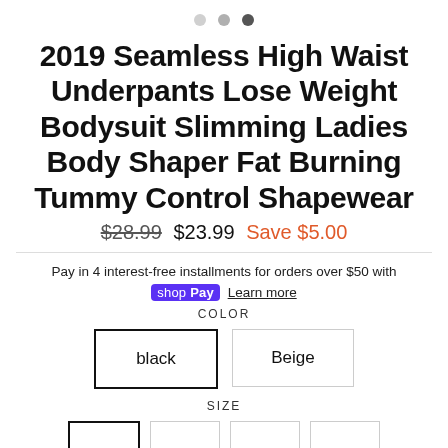[Figure (other): Image carousel navigation dots: three dots (light, medium, dark)]
2019 Seamless High Waist Underpants Lose Weight Bodysuit Slimming Ladies Body Shaper Fat Burning Tummy Control Shapewear
$28.99 $23.99 Save $5.00
Pay in 4 interest-free installments for orders over $50 with
shop Pay  Learn more
COLOR
black  Beige
SIZE